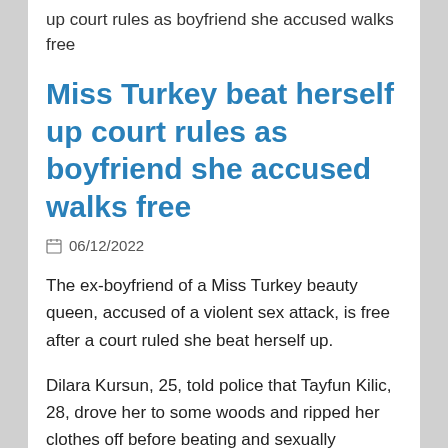up court rules as boyfriend she accused walks free
Miss Turkey beat herself up court rules as boyfriend she accused walks free
06/12/2022
The ex-boyfriend of a Miss Turkey beauty queen, accused of a violent sex attack, is free after a court ruled she beat herself up.
Dilara Kursun, 25, told police that Tayfun Kilic, 28, drove her to some woods and ripped her clothes off before beating and sexually